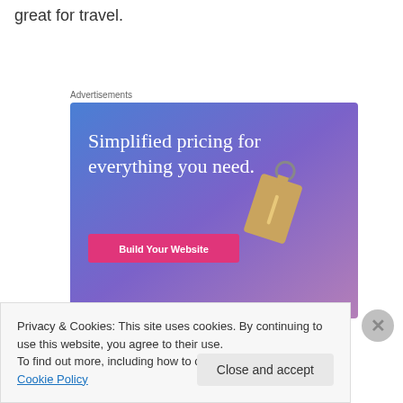great for travel.
Advertisements
[Figure (illustration): Advertisement banner with blue-purple gradient background, a price tag graphic, headline 'Simplified pricing for everything you need.' and a pink 'Build Your Website' button.]
Privacy & Cookies: This site uses cookies. By continuing to use this website, you agree to their use.
To find out more, including how to control cookies, see here: Cookie Policy